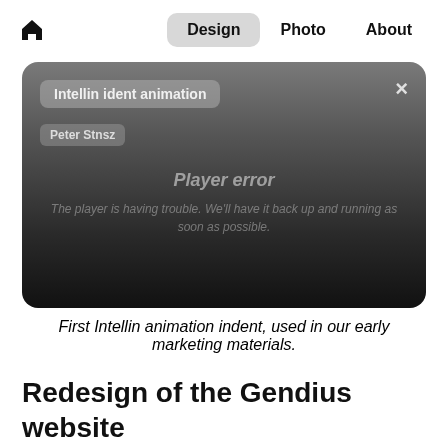Home | Design | Photo | About
[Figure (screenshot): Video player with dark gradient background showing a player error message. Title overlay reads 'Intellin ident animation', author tag reads 'Peter Stnsz'. Center shows italic text 'Player error' and 'The player is having trouble. We'll have it back up and running as soon as possible.' Close button (X) top right.]
First Intellin animation indent, used in our early marketing materials.
Redesign of the Gendius website